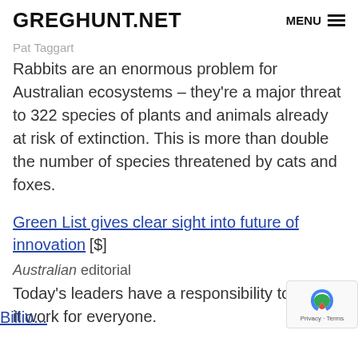GREGHUNT.NET | MENU
Pat Taggart
Rabbits are an enormous problem for Australian ecosystems – they're a major threat to 322 species of plants and animals already at risk of extinction. This is more than double the number of species threatened by cats and foxes.
Green List gives clear sight into future of innovation [$]
Australian editorial
Today's leaders have a responsibility to make it work for everyone.